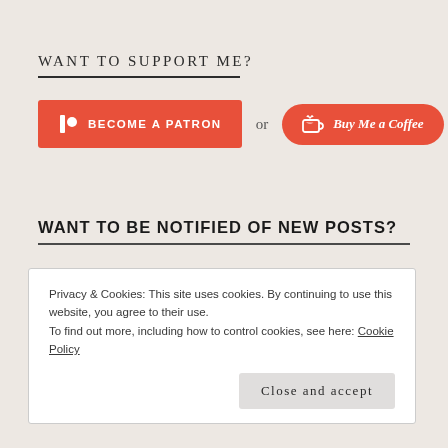WANT TO SUPPORT ME?
[Figure (other): Two support buttons: a red rectangular 'BECOME A PATRON' button with Patreon-style icon, the word 'or', and a red pill-shaped 'Buy Me a Coffee' button with coffee cup icon]
WANT TO BE NOTIFIED OF NEW POSTS?
Privacy & Cookies: This site uses cookies. By continuing to use this website, you agree to their use.
To find out more, including how to control cookies, see here: Cookie Policy
Close and accept